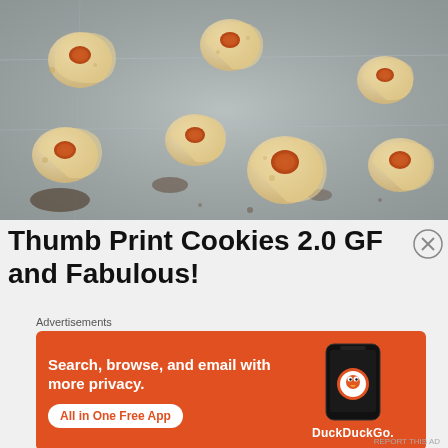[Figure (photo): Thumb print cookies with jam filling on a metal baking sheet]
Thumb Print Cookies 2.0 GF and Fabulous!
[Figure (other): DuckDuckGo advertisement: Search, browse, and email with more privacy. All in One Free App. Shows DuckDuckGo app on a phone.]